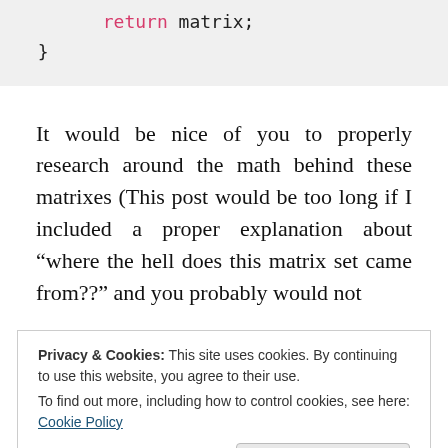return matrix;
}
It would be nice of you to properly research around the math behind these matrixes (This post would be too long if I included a proper explanation about “where the hell does this matrix set came from??” and you probably would not
Privacy & Cookies: This site uses cookies. By continuing to use this website, you agree to their use.
To find out more, including how to control cookies, see here: Cookie Policy
simple and straightforward. But I don’t think that you need